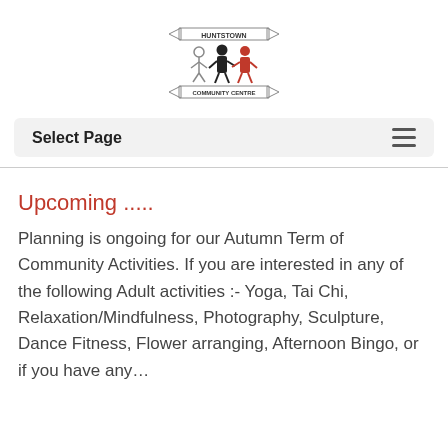[Figure (logo): Huntstown Community Centre logo showing two figures (one white, one black, one red) with banner text 'HUNTSTOWN' and 'COMMUNITY CENTRE']
Select Page
Upcoming .....
Planning is ongoing for our Autumn Term of Community Activities. If you are interested in any of the following Adult activities :- Yoga, Tai Chi, Relaxation/Mindfulness, Photography, Sculpture, Dance Fitness, Flower arranging, Afternoon Bingo, or if you have any…